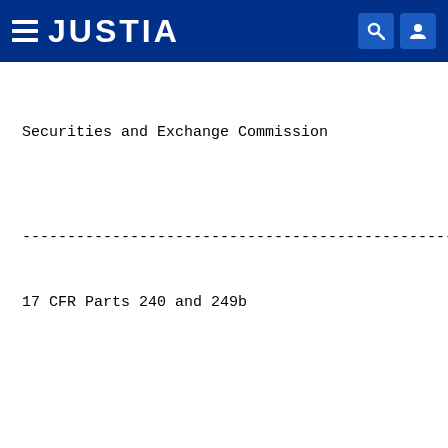JUSTIA
Securities and Exchange Commission
--------------------------------------------------------------------------------
17 CFR Parts 240 and 249b